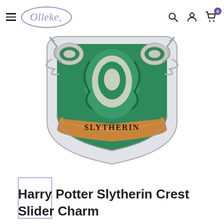Olleke
[Figure (photo): Slytherin crest slider charm showing green and silver decorative crest with SLYTHERIN banner on gold ribbon at the bottom]
[Figure (other): Thumbnail placeholder box with purple border]
Harry Potter Slytherin Crest Slider Charm